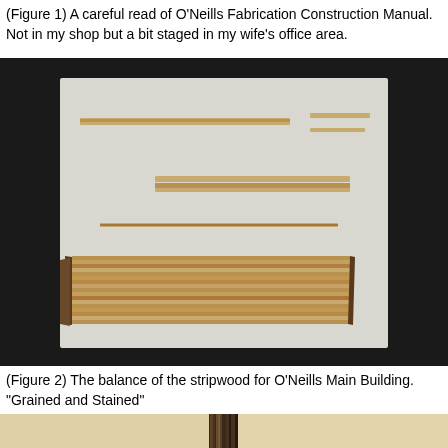(Figure 1) A careful read of O'Neills Fabrication Construction Manual. Not in my shop but a bit staged in my wife's office area.
[Figure (photo): A dark table surface with a white foam/cardboard board on which wooden stripwood pieces of various lengths are laid out in groups: a long strip and shorter strips at top, medium strips in the middle, a long thin strip below that, and a large bundle of many thin stripwood pieces at the bottom.]
(Figure 2) The balance of the stripwood for O'Neills Main Building. "Grained and Stained"
[Figure (photo): Bottom cropped portion showing a light tan surface with a dark vertical wooden strip/post in the center.]